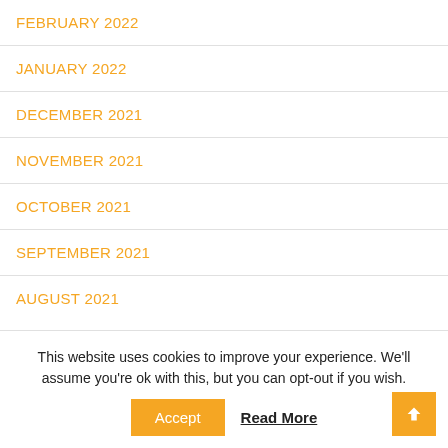FEBRUARY 2022
JANUARY 2022
DECEMBER 2021
NOVEMBER 2021
OCTOBER 2021
SEPTEMBER 2021
AUGUST 2021
This website uses cookies to improve your experience. We'll assume you're ok with this, but you can opt-out if you wish.
Accept
Read More